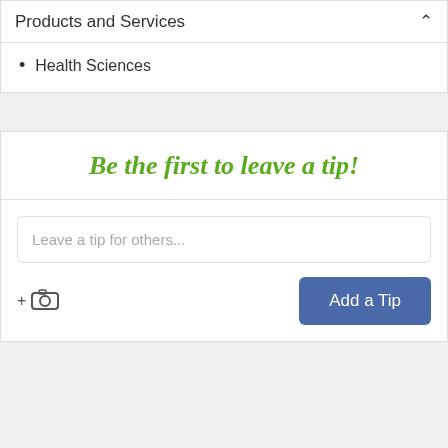Products and Services
Health Sciences
Be the first to leave a tip!
Leave a tip for others...
Add a Tip